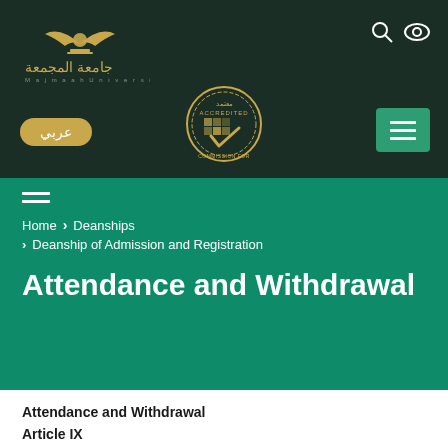[Figure (logo): Majmaah University logo with Arabic text and English subtitle, golden emblem with book/eagle motif]
عربي
[Figure (illustration): Accredited circular badge/seal in gold with checkmark]
[Figure (other): Green hamburger menu button with three white lines]
≡
Home > Deanships > Deanship of Admission and Registration
Attendance and Withdrawal
Attendance and Withdrawal
Article IX